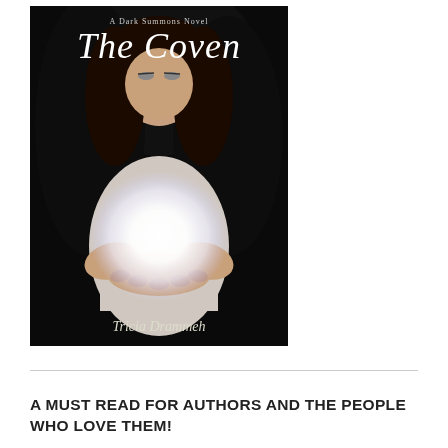[Figure (illustration): Book cover for 'The Coven: A Dark Summons Novel' by Tricia Drammeh. A woman with dark hair holds a glowing white orb of light in her cupped hands against a dark background. The title 'The Coven' is displayed in large white decorative font at the top, with 'A Dark Summons Novel' above it. The author name 'Tricia Drammeh' appears at the bottom.]
A MUST READ FOR AUTHORS AND THE PEOPLE WHO LOVE THEM!